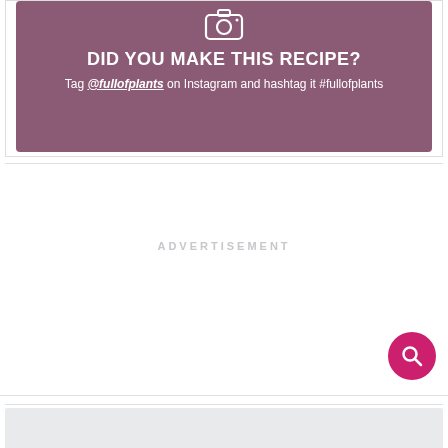[Figure (other): Purple/mauve rounded rectangle social media call-to-action box with camera icon, bold white heading 'DID YOU MAKE THIS RECIPE?', and white text 'Tag @fullofplants on Instagram and hashtag it #fullofplants']
ADVERTISEMENT
[Figure (other): Pink circular search button with magnifying glass icon in bottom right corner]